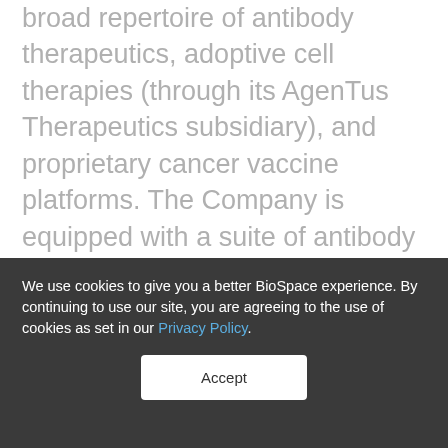broad repertoire of antibody therapeutics, adoptive cell therapies (through its AgenTus Therapeutics subsidiary), and proprietary cancer vaccine platforms. The Company is equipped with a suite of antibody discovery platforms and a state-of-the-art GMP manufacturing facility with the capacity to support clinical programs. Agenus is headquartered in Lexington, MA. For more information, please visit www.agenusbio.com and
We use cookies to give you a better BioSpace experience. By continuing to use our site, you are agreeing to the use of cookies as set in our Privacy Policy.
Accept